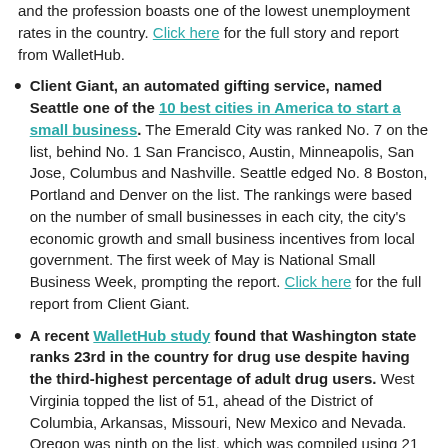and the profession boasts one of the lowest unemployment rates in the country. Click here for the full story and report from WalletHub.
Client Giant, an automated gifting service, named Seattle one of the 10 best cities in America to start a small business. The Emerald City was ranked No. 7 on the list, behind No. 1 San Francisco, Austin, Minneapolis, San Jose, Columbus and Nashville. Seattle edged No. 8 Boston, Portland and Denver on the list. The rankings were based on the number of small businesses in each city, the city's economic growth and small business incentives from local government. The first week of May is National Small Business Week, prompting the report. Click here for the full report from Client Giant.
A recent WalletHub study found that Washington state ranks 23rd in the country for drug use despite having the third-highest percentage of adult drug users. West Virginia topped the list of 51, ahead of the District of Columbia, Arkansas, Missouri, New Mexico and Nevada. Oregon was ninth on the list, which was compiled using 21 metrics ranging from arrest and overdose rates to opioid prescriptions and employee drug-testing laws, according to WalletHub's report. Vermont, Oregon and Washington ranked Nos. 1-3, respectively, with the highest percentage of adult drug users. Washington also claimed the No. 3 ranking, behind Oregon and Colorado, with the highest percentage of adults with